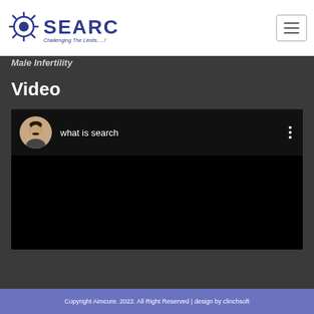[Figure (logo): SEARCH logo with gear/sun icon and tagline 'Challenging The Limits.....!']
[Figure (other): Hamburger menu button (three horizontal lines in a rounded rectangle)]
Male Infertility
Video
[Figure (screenshot): YouTube video embed showing 'what is search' with a circular avatar photo of a man and three-dot menu on black background]
Copyright Aimcure. 2022. All Right Reserved | design by clinchsoft